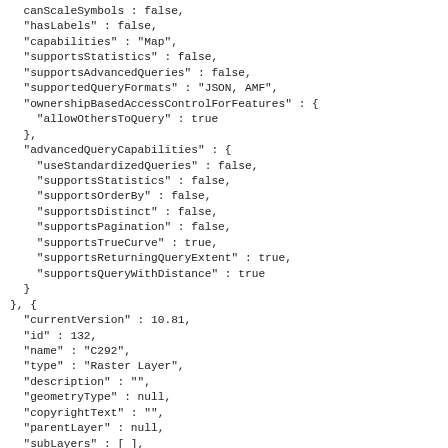canScaleSymbols : false,
"hasLabels" : false,
"capabilities" : "Map",
"supportsStatistics" : false,
"supportsAdvancedQueries" : false,
"supportedQueryFormats" : "JSON, AMF",
"ownershipBasedAccessControlForFeatures" : {
  "allowOthersToQuery" : true
},
"advancedQueryCapabilities" : {
  "useStandardizedQueries" : false,
  "supportsStatistics" : false,
  "supportsOrderBy" : false,
  "supportsDistinct" : false,
  "supportsPagination" : false,
  "supportsTrueCurve" : true,
  "supportsReturningQueryExtent" : true,
  "supportsQueryWithDistance" : true
}
}, {
  "currentVersion" : 10.81,
  "id" : 132,
  "name" : "C292",
  "type" : "Raster Layer",
  "description" : "",
  "geometryType" : null,
  "copyrightText" : "",
  "parentLayer" : null,
  "subLayers" : [ ],
  "minScale" : 0,
  "maxScale" : 0,
  "defaultVisibility" : true,
  "extent" : {
    "xmin" : 368024.6348668626,
    "ymin" : 6430575.898727704,
    "xmax" : 369579.6348668626,
    "ymax" : 6432135.398727704,
    "spatialReference" : {